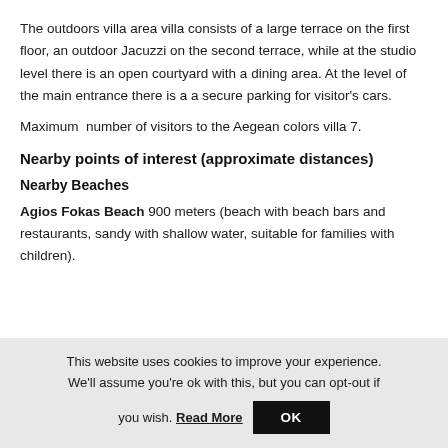The outdoors villa area villa consists of a large terrace on the first floor, an outdoor Jacuzzi on the second terrace, while at the studio level there is an open courtyard with a dining area. At the level of the main entrance there is a a secure parking for visitor's cars.
Maximum  number of visitors to the Aegean colors villa 7.
Nearby points of interest (approximate distances)
Nearby Beaches
Agios Fokas Beach 900 meters (beach with beach bars and restaurants, sandy with shallow water, suitable for families with children).
This website uses cookies to improve your experience. We'll assume you're ok with this, but you can opt-out if you wish. Read More  OK